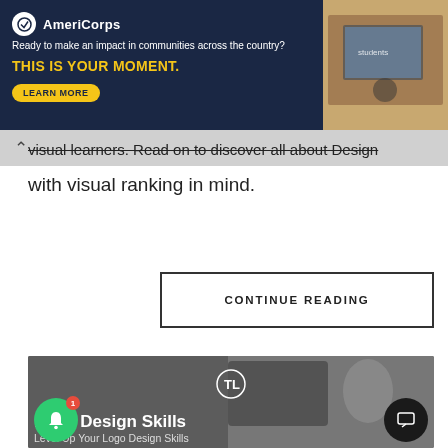[Figure (screenshot): AmeriCorps advertisement banner with dark navy background showing logo, tagline 'Ready to make an impact in communities across the country?', headline 'THIS IS YOUR MOMENT.', LEARN MORE button, and a photo of students at computers on the right.]
visual learners. Read on to discover all about Design with visual ranking in mind.
CONTINUE READING
[Figure (screenshot): Dark greyscale image of design tools on a desk (tablet, mouse) with a circular TL logo in the center, bold white text reading 'Logo Design Skills' and subtitle 'Level Up Your Logo Design Skills'. Green notification bell button at bottom left with red badge showing 1, and black chat button at bottom right.]